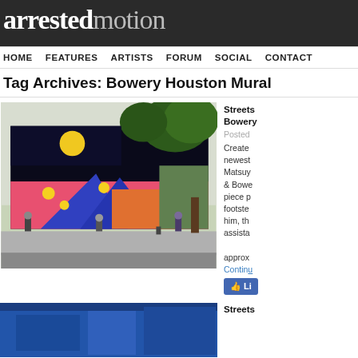arrestedmotion
HOME  FEATURES  ARTISTS  FORUM  SOCIAL  CONTACT
Tag Archives: Bowery Houston Mural
[Figure (photo): Large colorful mural photograph on a building wall at Bowery and Houston, NYC. Figures walking on sidewalk in front.]
Streets... Bowery...
Posted
Created newest Matsuy & Bowe piece p footste him, th assista approx Continue Li
[Figure (photo): Second post image with blue tones, partially visible.]
Streets